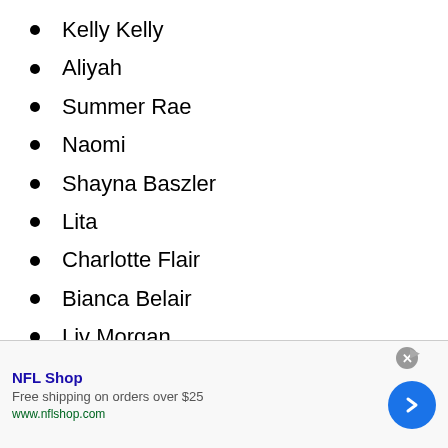Kelly Kelly
Aliyah
Summer Rae
Naomi
Shayna Baszler
Lita
Charlotte Flair
Bianca Belair
Liv Morgan
NFL Shop — Free shipping on orders over $25 — www.nflshop.com